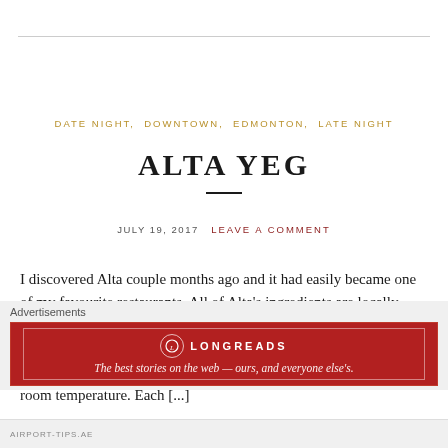DATE NIGHT, DOWNTOWN, EDMONTON, LATE NIGHT
ALTA YEG
JULY 19, 2017   LEAVE A COMMENT
I discovered Alta couple months ago and it had easily became one of my favourite restaurants. All of Alta's ingredients are locally sourced and carries a no tipping establishment. Their inspiration comes from anywhere and everywhere. According to our server (and chef), the food is raw, preserved, or pre-cooked at cold to room temperature. Each [...]
Advertisements
[Figure (other): Longreads advertisement banner: red background with Longreads logo and tagline 'The best stories on the web — ours, and everyone else's.']
AIRPORT-TIPS.AE